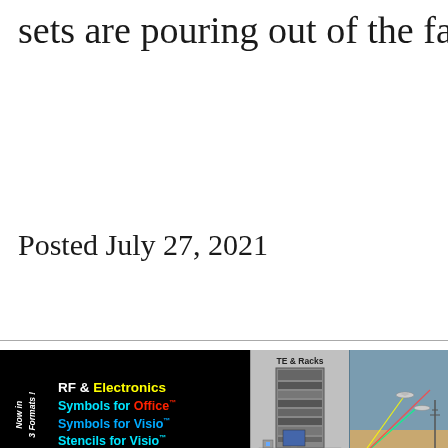sets are pouring out of the factory at a
Posted July 27, 2021
[Figure (illustration): RFCafe.com advertisement banner showing RF & Electronics Symbols for Office, Symbols for Visio, Stencils for Visio, with TE & Racks imagery, System Concept military aircraft illustration, and a pink panel with the number 10.]